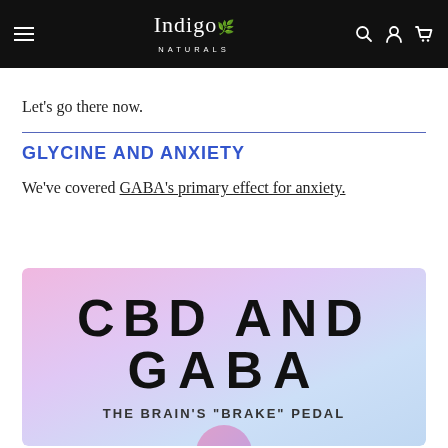Indigo Naturals
Let’s go there now.
GLYCINE AND ANXIETY
We’ve covered GABA’s primary effect for anxiety.
[Figure (illustration): Decorative image with gradient pink-purple-blue background showing bold text reading 'CBD AND GABA' and subtitle 'THE BRAIN’S "BRAKE" PEDAL' with a circular decorative element at the bottom.]